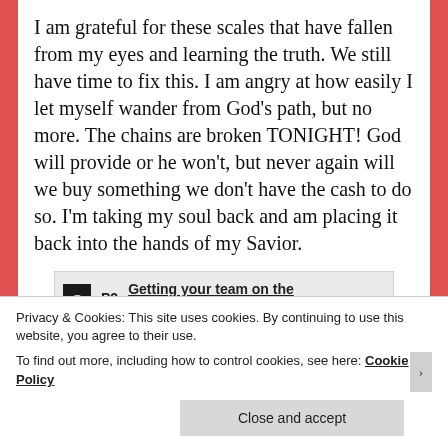I am grateful for these scales that have fallen from my eyes and learning the truth. We still have time to fix this. I am angry at how easily I let myself wander from God’s path, but no more. The chains are broken TONIGHT! God will provide or he won’t, but never again will we buy something we don’t have the cash to do so. I’m taking my soul back and am placing it back into the hands of my Savior.
[Figure (other): Advertisement banner for P2 - 'Getting your team on the same page is easy. And free.' with P2 logo on left.]
Privacy & Cookies: This site uses cookies. By continuing to use this website, you agree to their use.
To find out more, including how to control cookies, see here: Cookie Policy
Close and accept